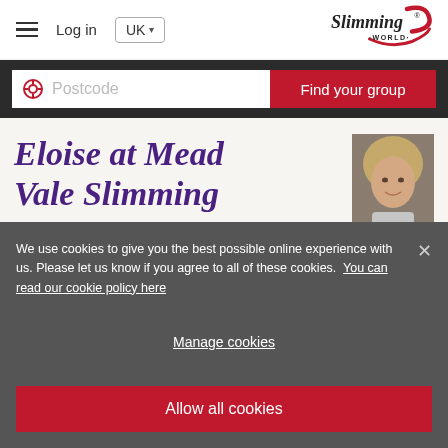[Figure (logo): Slimming World logo with red swoosh and trademark symbol]
Log in
UK
Postcode
Find your group
Eloise at Mead Vale Slimming
[Figure (photo): Portrait photo of a blonde woman smiling]
We use cookies to give you the best possible online experience with us. Please let us know if you agree to all of these cookies.  You can read our cookie policy here
Manage cookies
Allow all cookies